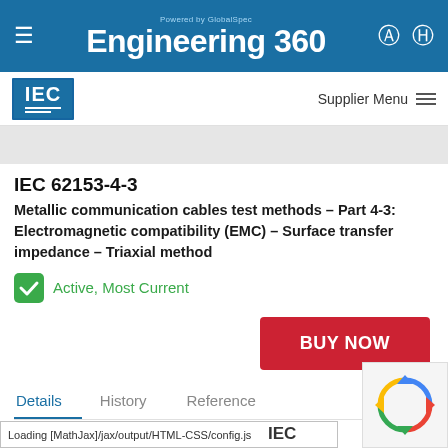Powered by GlobalSpec | Engineering 360
[Figure (logo): IEC logo - blue square with IEC text in white]
Supplier Menu
IEC 62153-4-3
Metallic communication cables test methods – Part 4-3: Electromagnetic compatibility (EMC) – Surface transfer impedance – Triaxial method
Active, Most Current
BUY NOW
Details
History
Reference
Loading [MathJax]/jax/output/HTML-CSS/config.js
IEC